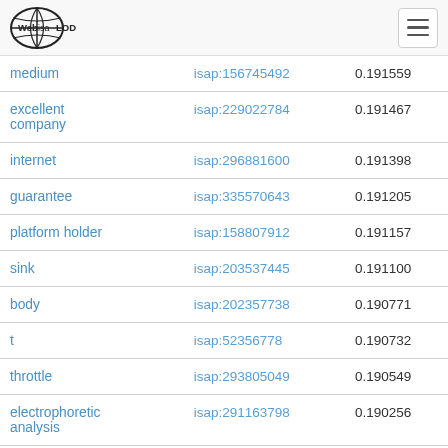Web isa LOD [hamburger menu]
| term | isap | score |
| --- | --- | --- |
| medium | isap:156745492 | 0.191559 |
| excellent company | isap:229022784 | 0.191467 |
| internet | isap:296881600 | 0.191398 |
| guarantee | isap:335570643 | 0.191205 |
| platform holder | isap:158807912 | 0.191157 |
| sink | isap:203537445 | 0.191100 |
| body | isap:202357738 | 0.190771 |
| t | isap:52356778 | 0.190732 |
| throttle | isap:293805049 | 0.190549 |
| electrophoretic analysis | isap:291163798 | 0.190256 |